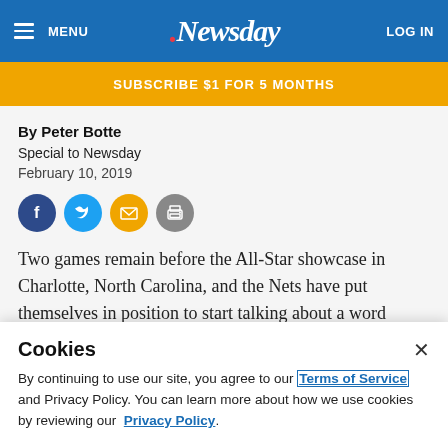MENU | .Newsday | LOG IN
SUBSCRIBE $1 FOR 5 MONTHS
By Peter Botte
Special to Newsday
February 10, 2019
[Figure (infographic): Social sharing icons: Facebook (dark blue circle), Twitter (light blue circle), Email (orange circle), Print (gray circle)]
Two games remain before the All-Star showcase in Charlotte, North Carolina, and the Nets have put themselves in position to start talking about a word coach Kenny Atkinson admittedly didn't expect to be saying
Cookies
By continuing to use our site, you agree to our Terms of Service and Privacy Policy. You can learn more about how we use cookies by reviewing our Privacy Policy.